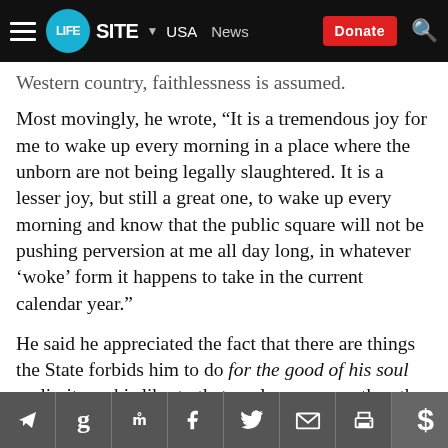LifeSite — USA  News  Donate
Western country, faithlessness is assumed.
Most movingly, he wrote, “It is a tremendous joy for me to wake up every morning in a place where the unborn are not being legally slaughtered. It is a lesser joy, but still a great one, to wake up every morning and know that the public square will not be pushing perversion at me all day long, in whatever ‘woke’ form it happens to take in the current calendar year.”
He said he appreciated the fact that there are things the State forbids him to do for the good of his soul — limits on his liberty that are less onerous than the ones Westerners put up with all over the world solely for the good of their bodies. For if some of the freedoms…
Social sharing icons: Telegram, Gettr, MeWe, Facebook, Twitter, Email, Print, Donate